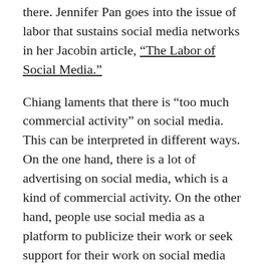there. Jennifer Pan goes into the issue of labor that sustains social media networks in her Jacobin article, “The Labor of Social Media.”
Chiang laments that there is “too much commercial activity” on social media. This can be interpreted in different ways. On the one hand, there is a lot of advertising on social media, which is a kind of commercial activity. On the other hand, people use social media as a platform to publicize their work or seek support for their work on social media (another form of advertising). While social media opens new ways of supporting otherwise unfunded projects (such as with Patreon or Kickstarter), the number of such projects that one sees on a daily basis can be overwhelming and seemingly unsustainable.
Another aspect of Chiang’s lament is the unseen